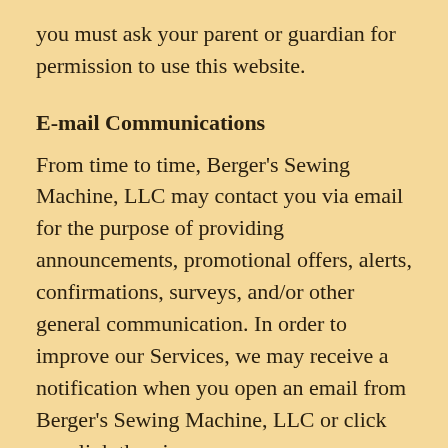you must ask your parent or guardian for permission to use this website.
E-mail Communications
From time to time, Berger's Sewing Machine, LLC may contact you via email for the purpose of providing announcements, promotional offers, alerts, confirmations, surveys, and/or other general communication. In order to improve our Services, we may receive a notification when you open an email from Berger's Sewing Machine, LLC or click on a link therein.